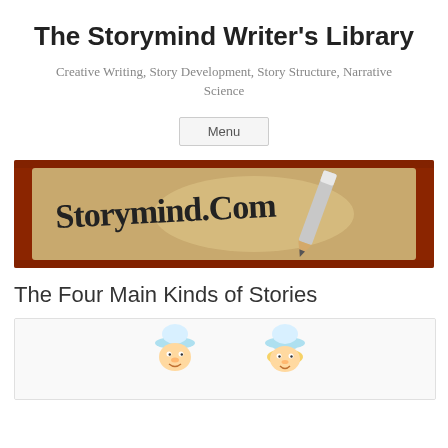The Storymind Writer's Library
Creative Writing, Story Development, Story Structure, Narrative Science
Menu
[Figure (logo): Storymind.com logo banner: a cursive handwritten 'Storymind.Com' text on a parchment/kraft paper background with a pencil, set on a dark reddish-brown wooden frame]
The Four Main Kinds of Stories
[Figure (illustration): Two cartoon chef characters with chef hats — one on the left facing right, one on the right facing left — illustrated cartoon style on a light background]